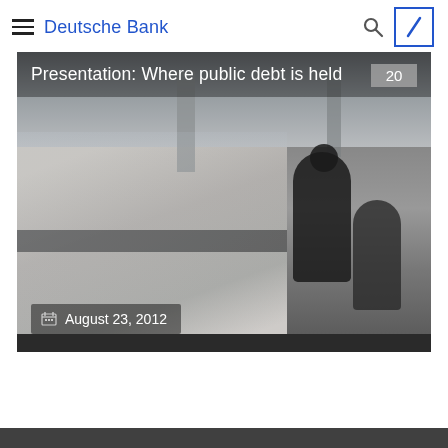Deutsche Bank
[Figure (photo): Blurred motion photo of people walking in a large modern building interior with marble floors and concrete columns. Presentation: Where public debt is held. Badge: 20. Date: August 23, 2012.]
Presentation: Where public debt is held
August 23, 2012